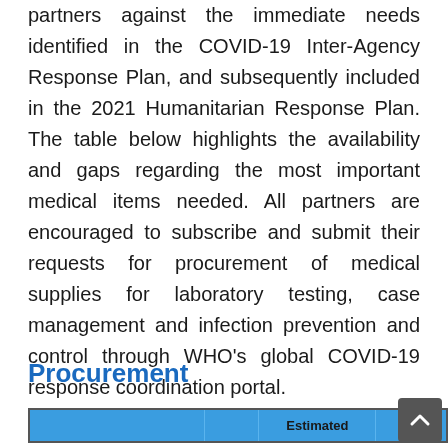partners against the immediate needs identified in the COVID-19 Inter-Agency Response Plan, and subsequently included in the 2021 Humanitarian Response Plan. The table below highlights the availability and gaps regarding the most important medical items needed. All partners are encouraged to subscribe and submit their requests for procurement of medical supplies for laboratory testing, case management and infection prevention and control through WHO's global COVID-19 response coordination portal.
Procurement
|  |  | Estimated |  |
| --- | --- | --- | --- |